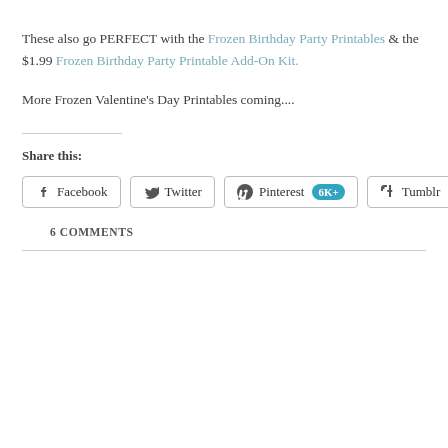These also go PERFECT with the Frozen Birthday Party Printables & the $1.99 Frozen Birthday Party Printable Add-On Kit.
More Frozen Valentine's Day Printables coming....
Share this:
[Figure (infographic): Social share buttons: Facebook, Twitter, Pinterest (6K+), Tumblr]
6 COMMENTS